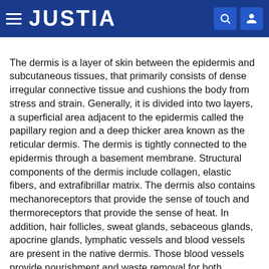JUSTIA
The dermis is a layer of skin between the epidermis and subcutaneous tissues, that primarily consists of dense irregular connective tissue and cushions the body from stress and strain. Generally, it is divided into two layers, a superficial area adjacent to the epidermis called the papillary region and a deep thicker area known as the reticular dermis. The dermis is tightly connected to the epidermis through a basement membrane. Structural components of the dermis include collagen, elastic fibers, and extrafibrillar matrix. The dermis also contains mechanoreceptors that provide the sense of touch and thermoreceptors that provide the sense of heat. In addition, hair follicles, sweat glands, sebaceous glands, apocrine glands, lymphatic vessels and blood vessels are present in the native dermis. Those blood vessels provide nourishment and waste removal for both the epidermis and the dermis.